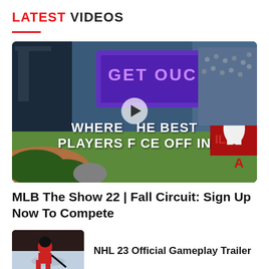LATEST VIDEOS
[Figure (screenshot): Video thumbnail showing MLB The Show 22 baseball stadium scene with scoreboard text 'GET OUT' and overlay text 'WHERE THE BEST PLAYERS FACE OFF IN' with a play button in center]
MLB The Show 22 | Fall Circuit: Sign Up Now To Compete
[Figure (screenshot): Small thumbnail of NHL 23 Official Gameplay Trailer showing a hockey player]
NHL 23 Official Gameplay Trailer